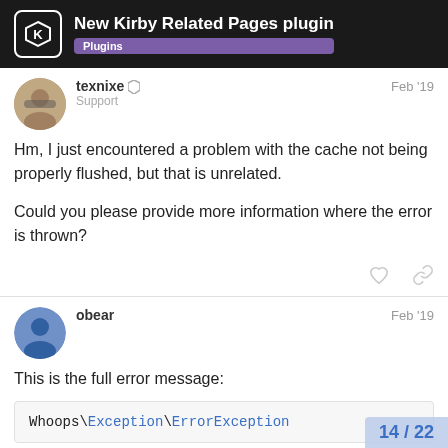New Kirby Related Pages plugin — Plugins
texnixe — Support — Feb '19
Hm, I just encountered a problem with the cache not being properly flushed, but that is unrelated.

Could you please provide more information where the error is thrown?
obear — Feb '19
This is the full error message:
Whoops\Exception\ErrorException